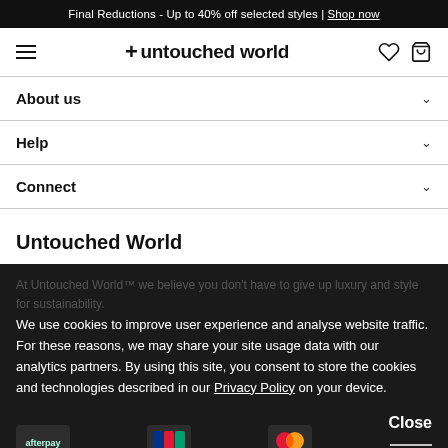Final Reductions - Up to 40% off selected styles | Shop now
[Figure (logo): Untouched World navigation bar with hamburger menu, logo '+ untouched world', heart icon and bag icon]
About us
Help
Connect
Untouched World
At Untouched World™ we believe you don't have to give up luxury and style for sustainability. For these reasons, we may share your site usage data with our analytics partners. By using this site, you consent to store the cookies and technologies described in our Privacy Policy on your device.
We use cookies to improve user experience and analyse website traffic. For these reasons, we may share your site usage data with our analytics partners. By using this site, you consent to store the cookies and technologies described in our Privacy Policy on your device.
[Figure (other): Payment icons row: Afterpay, JCB, Mastercard, Visa with Close button]